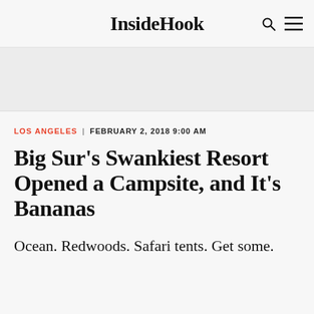InsideHook
[Figure (other): Advertisement banner placeholder, gray background]
LOS ANGELES | FEBRUARY 2, 2018 9:00 AM
Big Sur’s Swankiest Resort Opened a Campsite, and It’s Bananas
Ocean. Redwoods. Safari tents. Get some.